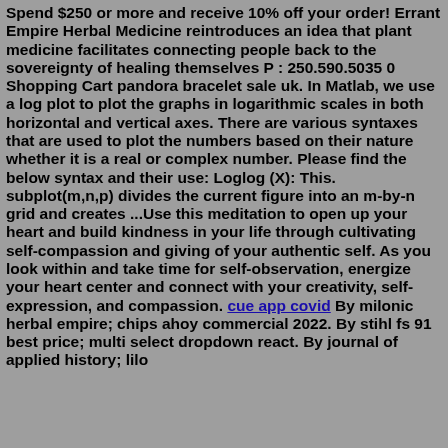Spend $250 or more and receive 10% off your order! Errant Empire Herbal Medicine reintroduces an idea that plant medicine facilitates connecting people back to the sovereignty of healing themselves P : 250.590.5035 0 Shopping Cart pandora bracelet sale uk. In Matlab, we use a log plot to plot the graphs in logarithmic scales in both horizontal and vertical axes. There are various syntaxes that are used to plot the numbers based on their nature whether it is a real or complex number. Please find the below syntax and their use: Loglog (X): This. subplot(m,n,p) divides the current figure into an m-by-n grid and creates ...Use this meditation to open up your heart and build kindness in your life through cultivating self-compassion and giving of your authentic self. As you look within and take time for self-observation, energize your heart center and connect with your creativity, self-expression, and compassion. cue app covid By milonic herbal empire; chips ahoy commercial 2022. By stihl fs 91 best price; multi select dropdown react. By journal of applied history; lilo